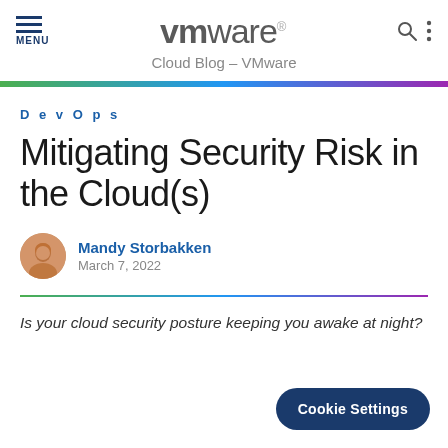Cloud Blog – VMware
DevOps
Mitigating Security Risk in the Cloud(s)
Mandy Storbakken
March 7, 2022
Is your cloud security posture keeping you awake at night?